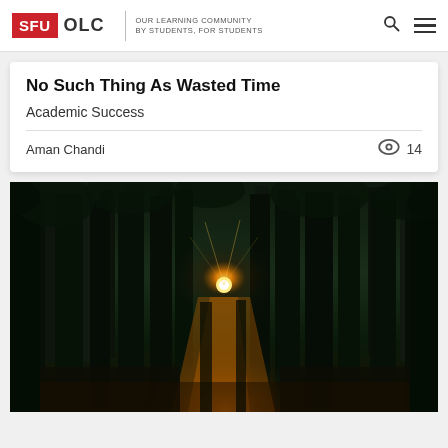SFU OLC | OUR LEARNING COMMUNITY BY STUDENTS, FOR STUDENTS
No Such Thing As Wasted Time
Academic Success
Aman Chandi
14
[Figure (photo): A forest path at dusk with sunlight bursting through tall dark trees, illuminating a trail with golden orange light on the ground]